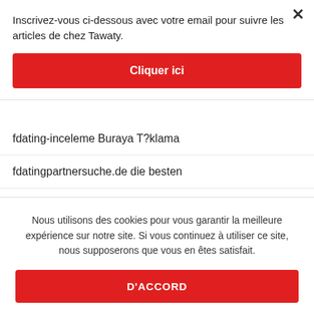Inscrivez-vous ci-dessous avec votre email pour suivre les articles de chez Tawaty.
Cliquer ici
fdating-inceleme Buraya T?klama
fdatingpartnersuche.de die besten
fdatingpartnersuche.de free singles
Feabie hookup
Nous utilisons des cookies pour vous garantir la meilleure expérience sur notre site. Si vous continuez à utiliser ce site, nous supposerons que vous en êtes satisfait.
D'ACCORD